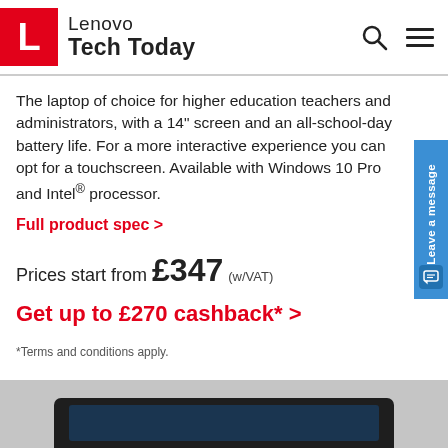Lenovo Tech Today
The laptop of choice for higher education teachers and administrators, with a 14" screen and an all-school-day battery life. For a more interactive experience you can opt for a touchscreen. Available with Windows 10 Pro and Intel® processor.
Full product spec >
Prices start from £347 (w/VAT)
Get up to £270 cashback* >
*Terms and conditions apply.
[Figure (photo): Bottom portion of a dark laptop device visible at the bottom of the page on a gray background]